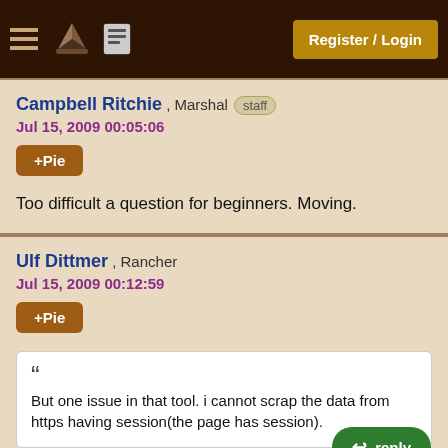Register / Login
Campbell Ritchie , Marshal staff
Jul 15, 2009 00:05:06
+Pie
Too difficult a question for beginners. Moving.
Ulf Dittmer , Rancher
Jul 15, 2009 00:12:59
+Pie
But one issue in that tool. i cannot scrap the data from https having session(the page has session).
Why not? jWebUnit supports cookie, if that's what's used for the sessions. If the session use URL rewriting